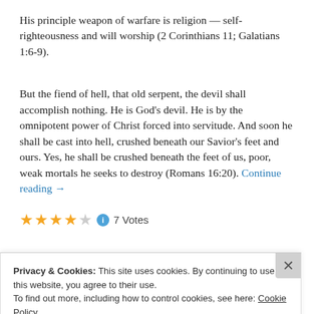His principle weapon of warfare is religion — self-righteousness and will worship (2 Corinthians 11; Galatians 1:6-9).
But the fiend of hell, that old serpent, the devil shall accomplish nothing. He is God’s devil. He is by the omnipotent power of Christ forced into servitude. And soon he shall be cast into hell, crushed beneath our Savior’s feet and ours. Yes, he shall be crushed beneath the feet of us, poor, weak mortals he seeks to destroy (Romans 16:20). Continue reading →
★★★★☆ 7 Votes
Privacy & Cookies: This site uses cookies. By continuing to use this website, you agree to their use.
To find out more, including how to control cookies, see here: Cookie Policy
Close and accept